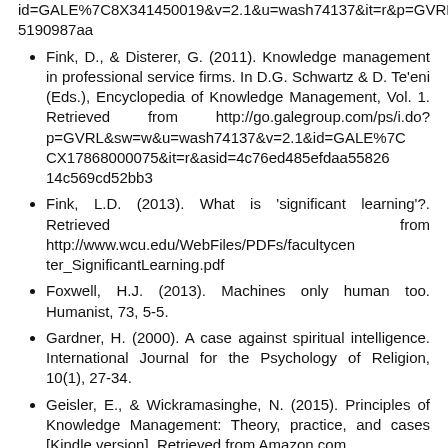id=GALE%7C8X34145001908v=2.1&u=wash74137&it=r&p=GVRL&sw=w&asid=f2d17aaa62928ff163ffca15190987aa
Fink, D., & Disterer, G. (2011). Knowledge management in professional service firms. In D.G. Schwartz & D. Te'eni (Eds.), Encyclopedia of Knowledge Management, Vol. 1. Retrieved from http://go.galegroup.com/ps/i.do?p=GVRL&sw=w&u=wash74137&v=2.1&id=GALE%7CCX17868000758&it=r&asid=4c76ed485efdaa5582614c569cd52bb3
Fink, L.D. (2013). What is 'significant learning'?. Retrieved from http://www.wcu.edu/WebFiles/PDFs/facultycenter_SignificantLearning.pdf
Foxwell, H.J. (2013). Machines only human too. Humanist, 73, 5-5.
Gardner, H. (2000). A case against spiritual intelligence. International Journal for the Psychology of Religion, 10(1), 27-34.
Geisler, E., & Wickramasinghe, N. (2015). Principles of Knowledge Management: Theory, practice, and cases [Kindle version]. Retrieved from Amazon.com
Gimbel, S. (2011). Exploring the Scientific Method: Cases and Questions. Chicago, IL: University of